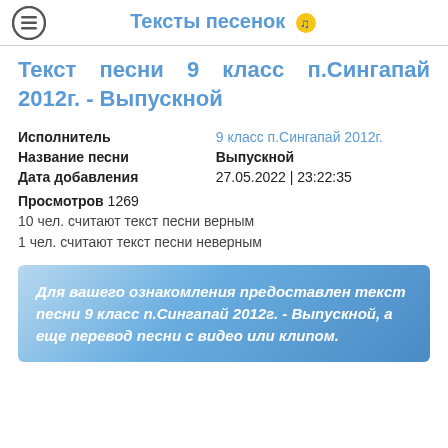Тексты песенок 🎵
Текст песни 9 класс п.Сингапай 2012г. - Выпускной
| Исполнитель | 9 класс п.Сингапай 2012г. |
| Название песни | Выпускной |
| Дата добавления | 27.05.2022 | 23:22:35 |
Просмотров 1269
10 чел. считают текст песни верным
1 чел. считают текст песни неверным
Для вашего ознакомления предоставлен текст песни 9 класс п.Сингапай 2012г. - Выпускной, а еще перевод песни с видео или клипом.